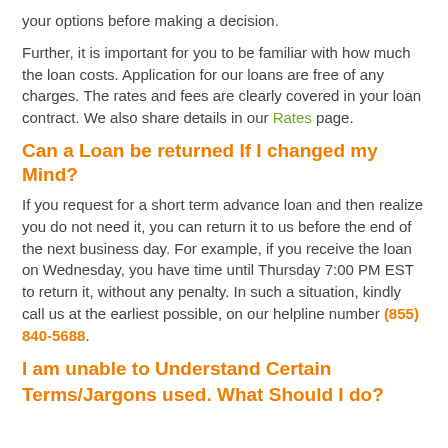your options before making a decision.
Further, it is important for you to be familiar with how much the loan costs. Application for our loans are free of any charges. The rates and fees are clearly covered in your loan contract. We also share details in our Rates page.
Can a Loan be returned If I changed my Mind?
If you request for a short term advance loan and then realize you do not need it, you can return it to us before the end of the next business day. For example, if you receive the loan on Wednesday, you have time until Thursday 7:00 PM EST to return it, without any penalty. In such a situation, kindly call us at the earliest possible, on our helpline number (855) 840-5688.
I am unable to Understand Certain Terms/Jargons used. What Should I do?